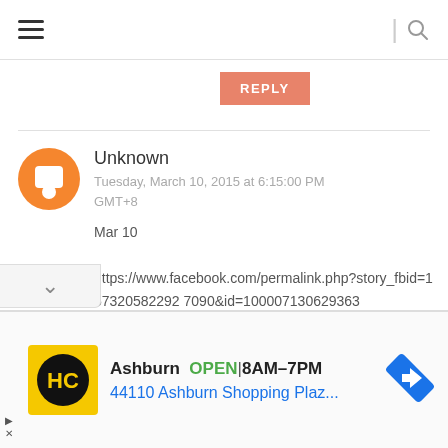Navigation bar with hamburger menu and search icon
REPLY
Unknown
Tuesday, March 10, 2015 at 6:15:00 PM GMT+8
Mar 10
https://www.facebook.com/permalink.php?story_fbid=157320582292 7090&id=100007130629363
https://twitter.com/RustikB2basic/status/575238268280832000
[Figure (other): Advertisement bar showing HC logo, Ashburn OPEN 8AM-7PM, 44110 Ashburn Shopping Plaz... with navigation arrow icon]